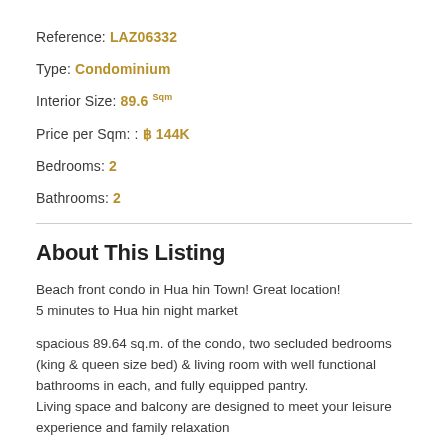Reference: LAZ06332
Type: Condominium
Interior Size: 89.6 Sqm
Price per Sqm: : ฿ 144K
Bedrooms: 2
Bathrooms: 2
About This Listing
Beach front condo in Hua hin Town! Great location!
5 minutes to Hua hin night market
spacious 89.64 sq.m. of the condo, two secluded bedrooms (king & queen size bed) & living room with well functional bathrooms in each, and fully equipped pantry.
Living space and balcony are designed to meet your leisure experience and family relaxation